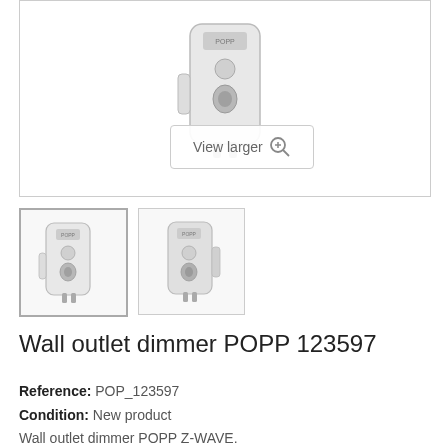[Figure (photo): Main product image of POPP 123597 wall outlet dimmer, white plug-in device shown from front-side angle]
[Figure (photo): Thumbnail 1: POPP 123597 wall outlet dimmer, front view with border indicating selected state]
[Figure (photo): Thumbnail 2: POPP 123597 wall outlet dimmer, side/back angle view]
Wall outlet dimmer POPP 123597
Reference: POP_123597
Condition: New product
Wall outlet dimmer POPP Z-WAVE.